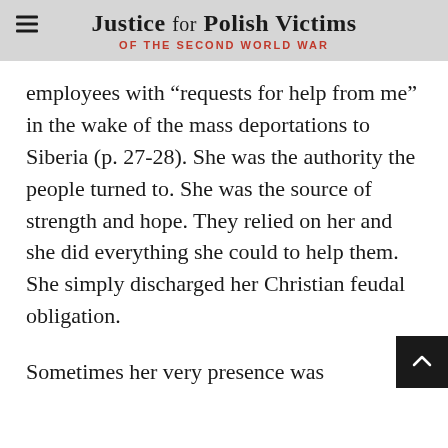Justice for Polish Victims OF THE SECOND WORLD WAR
employees with “requests for help from me” in the wake of the mass deportations to Siberia (p. 27-28). She was the authority the people turned to. She was the source of strength and hope. They relied on her and she did everything she could to help them. She simply discharged her Christian feudal obligation.
Sometimes her very presence was